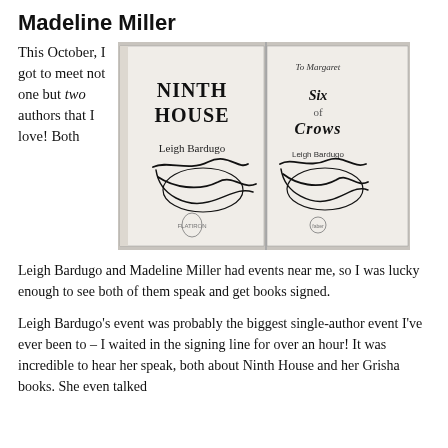Madeline Miller
This October, I got to meet not one but two authors that I love! Both Leigh Bardugo and Madeline Miller had events near me, so I was lucky enough to see both of them speak and get books signed.
[Figure (photo): Photo of two signed book title pages side by side: Ninth House by Leigh Bardugo (left) and Six of Crows by Leigh Bardugo (right), both with author signatures.]
Leigh Bardugo's event was probably the biggest single-author event I've ever been to – I waited in the signing line for over an hour! It was incredible to hear her speak, both about Ninth House and her Grisha books. She even talked